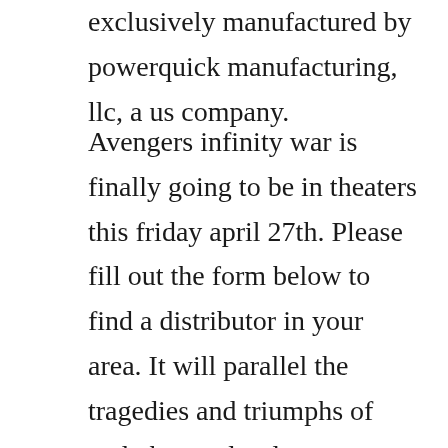exclusively manufactured by powerquick manufacturing, llc, a us company.
Avengers infinity war is finally going to be in theaters this friday april 27th. Please fill out the form below to find a distributor in your area. It will parallel the tragedies and triumphs of andy harvards adventurous life with the vast medical, legal and financial implications of alzheimers disease. Meet the staff from the moment you walk in, our friendly, professional staff will make you feel right at home. In just a few weeks, weve welcomed hordes of psyched rock climbers, boulderers